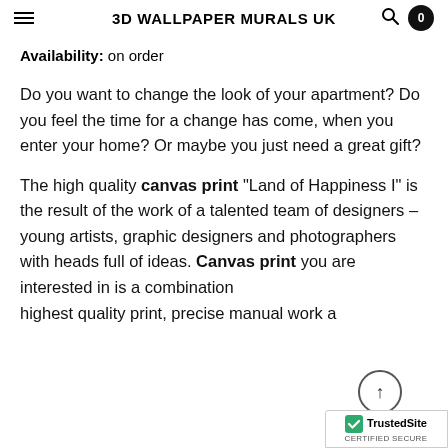3D WALLPAPER MURALS UK
Availability: on order
Do you want to change the look of your apartment? Do you feel the time for a change has come, when you enter your home? Or maybe you just need a great gift?
The high quality canvas print “Land of Happiness I” is the result of the work of a talented team of designers – young artists, graphic designers and photographers with heads full of ideas. Canvas print you are interested in is a combination highest quality print, precise manual work a